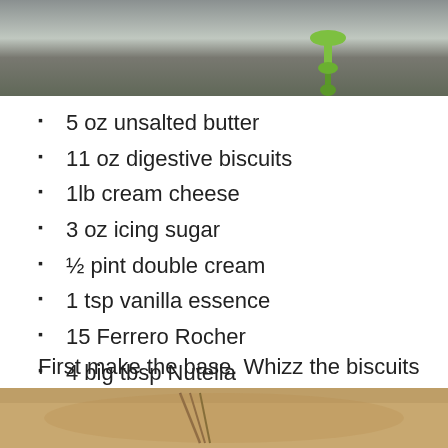[Figure (photo): Top portion of a photo showing kitchen equipment on a dark surface, with a green gadget/tool visible]
5 oz unsalted butter
11 oz digestive biscuits
1lb cream cheese
3 oz icing sugar
½ pint double cream
1 tsp vanilla essence
15 Ferrero Rocher
4 big tbsp Nutella
2 handfuls hazlenuts
First make the base. Whizz the biscuits in a processor.
[Figure (photo): Bottom portion of a photo showing food preparation with whisk and bowl]